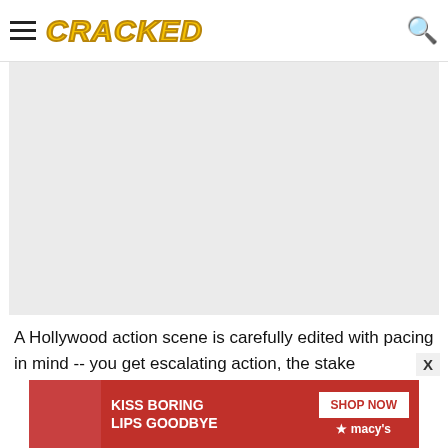CRACKED
[Figure (photo): Large light gray placeholder image area representing a Hollywood action scene]
A Hollywood action scene is carefully edited with pacing in mind -- you get escalating action, the stake
[Figure (photo): Macy's advertisement banner: KISS BORING LIPS GOODBYE with woman's face and red lips, SHOP NOW button and Macy's logo]